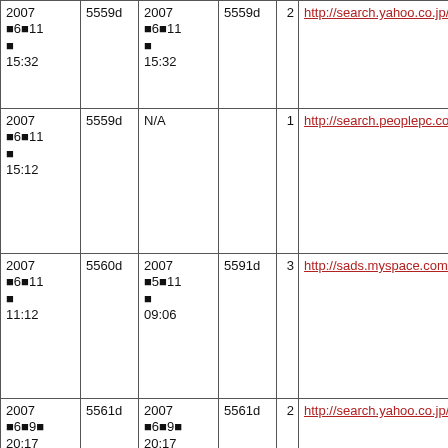| 2007Ö6×11Ð
15:32 | 5559d | 2007Ö6×11Ð
15:32 | 5559d | 2 | http://search.yahoo.co.jp/... |
| 2007Ö6×11Ð
15:12 | 5559d | N/A |  | 1 | http://search.peoplepc.com/... |
| 2007Ö6×11Ð
11:12 | 5560d | 2007Ö5×11Ð
09:06 | 5591d | 3 | http://sads.myspace.com/... |
| 2007Ö6×9Ð
20:17 | 5561d | 2007Ö6×9Ð
20:17 | 5561d | 2 | http://search.yahoo.co.jp/... |
| 2007Ö6×9Ð
11:48 | 5562d | N/A |  | 1 | http://search.yahoo.co.jp/... |
| 2007Ö6×9Ð
11:33 | 5562d | N/A |  | 1 | http://www.blingo.com/se... |
| 2007Ö6×8Ð
14:12 | 5562d | N/A |  | 1 |  |
| 2007... |  |  |  |  |  |